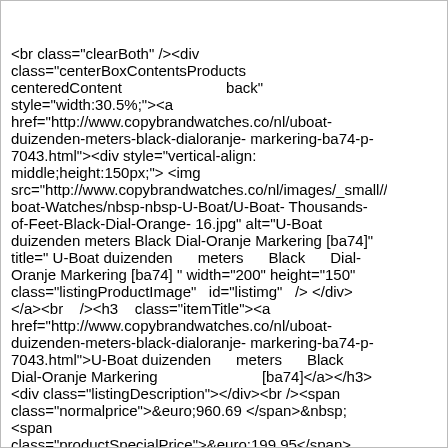</a><br /><br /></div> <br class="clearBoth" /><div class="centerBoxContentsProducts centeredContent back" style="width:30.5%;"><a href="http://www.copybrandwatches.co/nl/uboat-duizenden-meters-black-dialoranje-markering-ba74-p-7043.html"><div style="vertical-align: middle;height:150px;"> <img src="http://www.copybrandwatches.co/nl/images/_small//watcboat-Watches/nbsp-nbsp-U-Boat/U-Boat-Thousands-of-Feet-Black-Dial-Orange-16.jpg" alt="U-Boat duizenden meters Black Dial-Oranje Markering [ba74]" title=" U-Boat duizenden meters Black Dial-Oranje Markering [ba74] " width="200" height="150" class="listingProductImage" id="listimg" /> </div></a><br /><h3 class="itemTitle"><a href="http://www.copybrandwatches.co/nl/uboat-duizenden-meters-black-dialoranje-markering-ba74-p-7043.html">U-Boat duizenden meters Black Dial-Oranje Markering [ba74]</a></h3><div class="listingDescription"></div><br /><span class="normalprice">&euro;960.69 </span>&nbsp;<span class="productSpecialPrice">&euro;199.95</span><span class="productPriceDiscount"><br />Korting:&nbsp;79%</span><br /><br /><a href="http://www.copybrandwatches.co/nl/uboat-